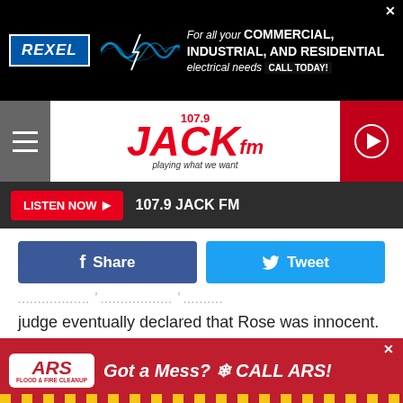[Figure (screenshot): Rexel advertisement banner: 'For all your COMMERCIAL, INDUSTRIAL, AND RESIDENTIAL electrical needs CALL TODAY!']
[Figure (logo): 107.9 JACK fm logo - playing what we want]
LISTEN NOW ▶  107.9 JACK FM
[Figure (screenshot): Facebook Share button and Twitter Tweet button]
judge eventually declared that Rose was innocent.
Guns N' Roses later claimed that they asked security four times to remove the cameras they saw in the crowd. Group members also said they were hit by bottles, since the Riverport security was so lax.
When Guns N' Roses released their two Use Your Illusion
[Figure (screenshot): ARS Flood & Fire Cleanup advertisement: 'Got a Mess? CALL ARS!']